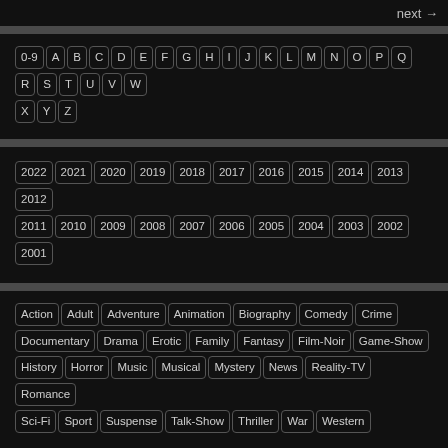next →
0-9 A B C D E F G H I J K L M N O P Q R S T U V W X Y Z
2022 2021 2020 2019 2018 2017 2016 2015 2014 2013 2012 2011 2010 2009 2008 2007 2006 2005 2004 2003 2002 2001
Action Adult Adventure Animation Biography Comedy Crime Documentary Drama Erotic Family Fantasy Film-Noir Game-Show History Horror Music Musical Mystery News Reality-TV Romance Sci-Fi Sport Suspense Talk-Show Thriller War Western
Recent and Updated Movies